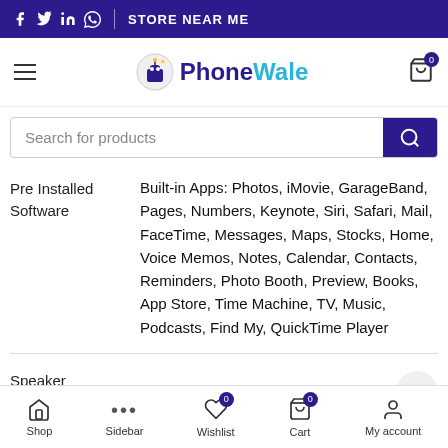f  tw  in  whatsapp  |  STORE NEAR ME
[Figure (logo): PhoneWale logo with mascot robot icon, text 'Phone' in dark blue and 'Wale' in light blue]
Search for products
|  |  |
| --- | --- |
| Pre Installed Software | Built-in Apps: Photos, iMovie, GarageBand, Pages, Numbers, Keynote, Siri, Safari, Mail, FaceTime, Messages, Maps, Stocks, Home, Voice Memos, Notes, Calendar, Contacts, Reminders, Photo Booth, Preview, Books, App Store, Time Machine, TV, Music, Podcasts, Find My, QuickTime Player |
| Speaker Attached | Yes |
Shop  Sidebar  Wishlist  Cart  My account